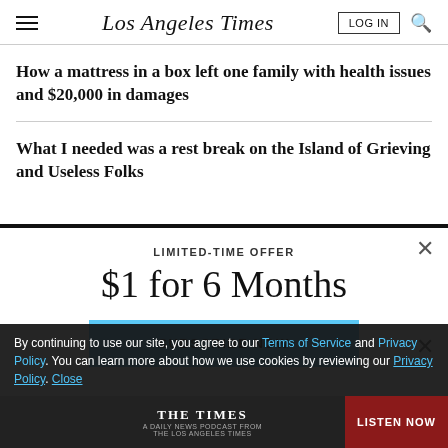Los Angeles Times
How a mattress in a box left one family with health issues and $20,000 in damages
What I needed was a rest break on the Island of Grieving and Useless Folks
LIMITED-TIME OFFER
$1 for 6 Months
SUBSCRIBE NOW
By continuing to use our site, you agree to our Terms of Service and Privacy Policy. You can learn more about how we use cookies by reviewing our Privacy Policy. Close